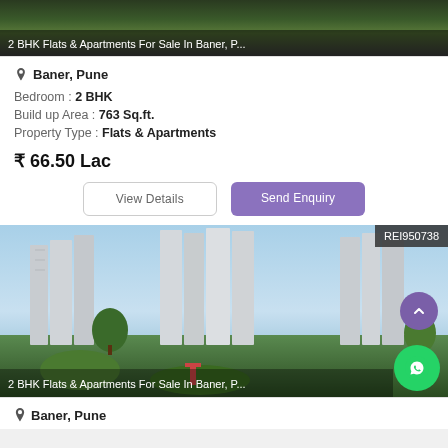[Figure (photo): Aerial/rendered view of apartment buildings with greenery, top portion visible]
2 BHK Flats & Apartments For Sale In Baner, P...
Baner, Pune
Bedroom : 2 BHK
Build up Area : 763 Sq.ft.
Property Type : Flats & Apartments
₹ 66.50 Lac
View Details
Send Enquiry
[Figure (photo): Rendered image of tall apartment towers with landscaped gardens and playground in foreground, clear blue sky]
REI950738
2 BHK Flats & Apartments For Sale In Baner, P...
Baner, Pune